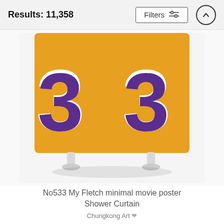Results: 11,358
[Figure (photo): Product photo of a shower curtain with a gold/yellow basketball jersey design showing number 33 in purple and white, displayed on a stand with white hooks at the bottom]
No533 My Fletch minimal movie poster Shower Curtain
Chungkong Art ♡
$89